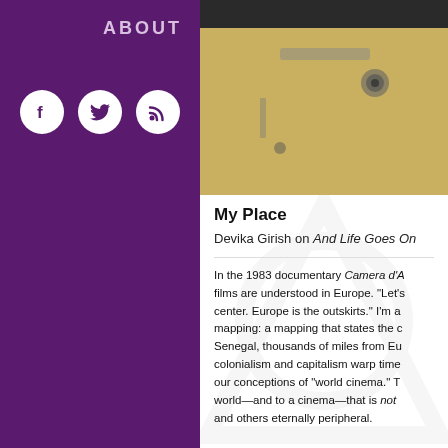ABOUT
[Figure (illustration): Three social media icon circles: Facebook (f), Twitter (bird), RSS feed on purple background]
[Figure (photo): Partial photo of what appears to be a vehicle interior or mechanical element, dark bar at top with beige/yellow surface below]
My Place
Devika Girish on And Life Goes On
In the 1983 documentary Camera d'A films are understood in Europe. "Let's center. Europe is the outskirts." I'm a mapping: a mapping that states the c Senegal, thousands of miles from Eu colonialism and capitalism warp time our conceptions of "world cinema." T world—and to a cinema—that is not and others eternally peripheral.
Growing up in India on a diet of most of world cinema, even though I was and on TV as far back as I can reme foreignness, of obscurity, that we as